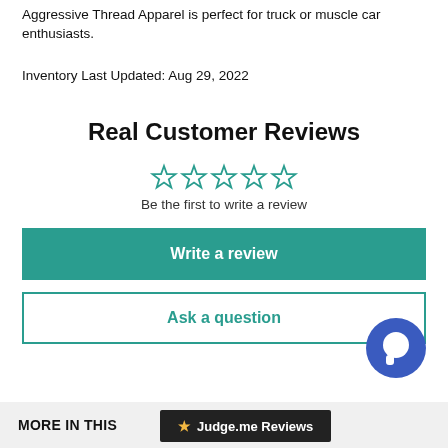Aggressive Thread Apparel is perfect for truck or muscle car enthusiasts.
Inventory Last Updated: Aug 29, 2022
Real Customer Reviews
[Figure (other): Five empty star rating icons in teal/outline style]
Be the first to write a review
Write a review
Ask a question
[Figure (other): Blue circular chat bubble icon bottom right]
MORE IN THIS
★ Judge.me Reviews